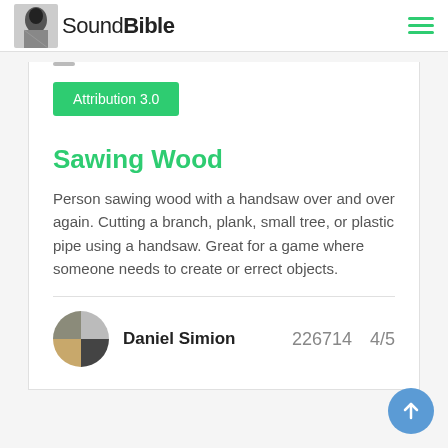SoundBible
Attribution 3.0
Sawing Wood
Person sawing wood with a handsaw over and over again. Cutting a branch, plank, small tree, or plastic pipe using a handsaw. Great for a game where someone needs to create or errect objects.
Daniel Simion  226714  4/5